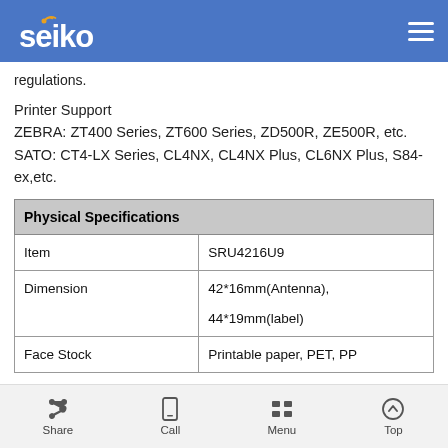Seiko logo and navigation bar
regulations.
Printer Support
ZEBRA: ZT400 Series, ZT600 Series, ZD500R, ZE500R, etc.
SATO: CT4-LX Series, CL4NX, CL4NX Plus, CL6NX Plus, S84-ex,etc.
| Physical Specifications |  |
| --- | --- |
| Item | SRU4216U9 |
| Dimension | 42*16mm(Antenna),
44*19mm(label) |
| Face Stock | Printable paper, PET, PP |
Share  Call  Menu  Top